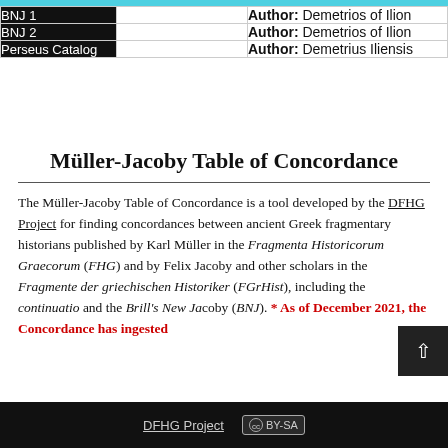|  |  | Author |
| --- | --- | --- |
| BNJ 1 |  | Author: Demetrios of Ilion |
| BNJ 2 |  | Author: Demetrios of Ilion |
| Perseus Catalog |  | Author: Demetrius Iliensis |
Müller-Jacoby Table of Concordance
The Müller-Jacoby Table of Concordance is a tool developed by the DFHG Project for finding concordances between ancient Greek fragmentary historians published by Karl Müller in the Fragmenta Historicorum Graecorum (FHG) and by Felix Jacoby and other scholars in the Fragmente der griechischen Historiker (FGrHist), including the continuatio and the Brill's New Jacoby (BNJ). * As of December 2021, the Concordance has ingested
DFHG Project  CC BY-SA